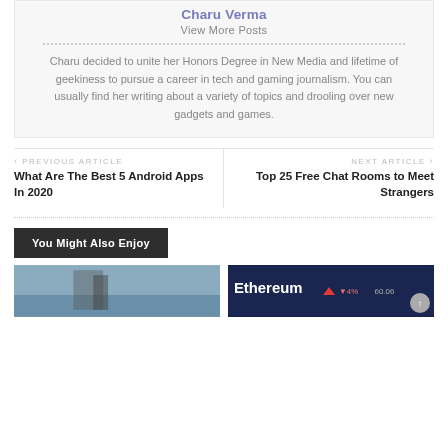Charu Verma
View More Posts
Charu decided to unite her Honors Degree in New Media and lifetime of geekiness to pursue a career in tech and gaming journalism. You can usually find her writing about a variety of topics and drooling over new gadgets and games.
PREVIOUS ARTICLE
What Are The Best 5 Android Apps In 2020
NEXT ARTICLE
Top 25 Free Chat Rooms to Meet Strangers
You Might Also Enjoy
[Figure (photo): Photo thumbnail on left - appears to be an outdoor/sky scene]
[Figure (screenshot): Ethereum trading screen with price ticker showing red arrow and values]